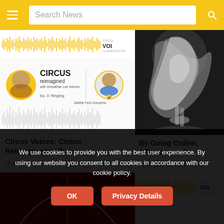Search News
[Figure (screenshot): Podcast player waveform for Circus Reimagined podcast with circuVOI logo]
[Figure (screenshot): Podcast episode thumbnail: CIRCUS reimagined with Johnathan Lee Iverson, Ep. 3: Ringling, featuring Juliette Feld Grossens]
Circus Voices: Circus Reimagined with...
August 19, 2022
[Figure (photo): Black and white photo of a performer spinning in silver/white costume]
By Going Online, Alliances and...
August 18, 2022
[Figure (photo): Red background with circular hoop/acrobatic prop]
[Figure (screenshot): CircuVOI podcast waveform player]
We use cookies to provide you with the best user experience. By using our website you consent to all cookies in accordance with our cookie policy.
OK
Privacy Details